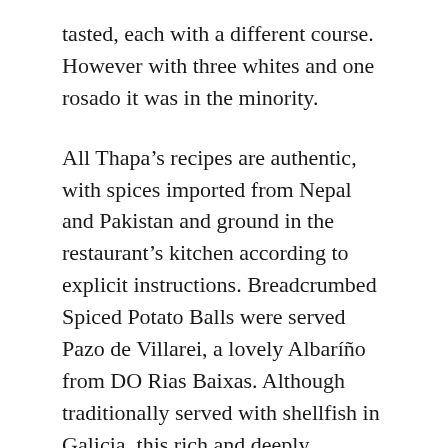tasted, each with a different course. However with three whites and one rosado it was in the minority.
All Thapa’s recipes are authentic, with spices imported from Nepal and Pakistan and ground in the restaurant’s kitchen according to explicit instructions. Breadcrumbed Spiced Potato Balls were served  Pazo de Villarei, a lovely Aliariño from DO Rias Baixas. Although traditionally served with shellfish in Galicia, this rich and deeply aromatic white wine combined so well on the palate negating any burn potential of the mild to medium spicing.
To say that we had a lamb chop for the next